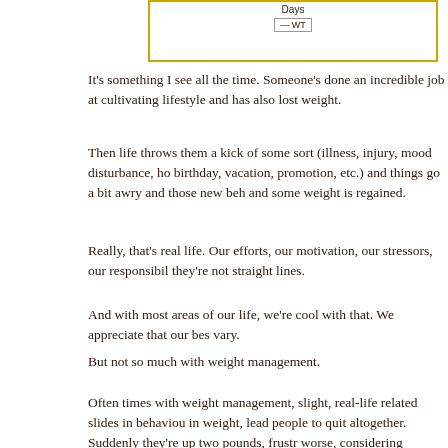[Figure (other): Partial chart stub with 'Days' label and '— WT' legend indicator, bordered in yellow/gold]
It's something I see all the time. Someone's done an incredible job at cultivating lifestyle and has also lost weight.
Then life throws them a kick of some sort (illness, injury, mood disturbance, ho birthday, vacation, promotion, etc.) and things go a bit awry and those new beh and some weight is regained.
Really, that's real life. Our efforts, our motivation, our stressors, our responsibil they're not straight lines.
And with most areas of our life, we're cool with that. We appreciate that our bes vary.
But not so much with weight management.
Often times with weight management, slight, real-life related slides in behaviou in weight, lead people to quit altogether. Suddenly they're up two pounds, frustr worse, considering themselves failure and their efforts impossible.
It's times like these that I tend to remind people, like I did yesterday in my offic patient whose chart is up above, who has lost over 30lbs over the past 16 month recently regained 2, that it's their choice whether they want to perceive their ou being up 2, or down 30.